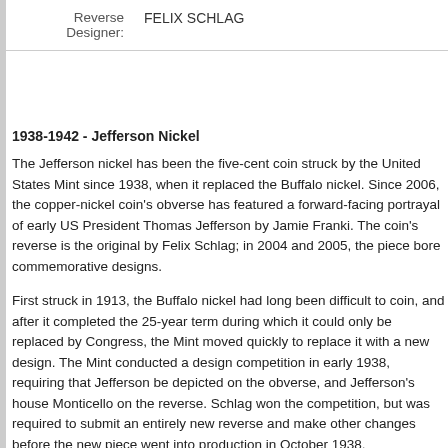| Field | Value |
| --- | --- |
| Reverse Designer: | FELIX SCHLAG |
1938-1942 - Jefferson Nickel
The Jefferson nickel has been the five-cent coin struck by the United States Mint since 1938, when it replaced the Buffalo nickel. Since 2006, the copper-nickel coin's obverse has featured a forward-facing portrayal of early US President Thomas Jefferson by Jamie Franki. The coin's reverse is the original by Felix Schlag; in 2004 and 2005, the piece bore commemorative designs.
First struck in 1913, the Buffalo nickel had long been difficult to coin, and after it completed the 25-year term during which it could only be replaced by Congress, the Mint moved quickly to replace it with a new design. The Mint conducted a design competition in early 1938, requiring that Jefferson be depicted on the obverse, and Jefferson's house Monticello on the reverse. Schlag won the competition, but was required to submit an entirely new reverse and make other changes before the new piece went into production in October 1938.
As nickel was a strategic war material during World War II, nickels coined